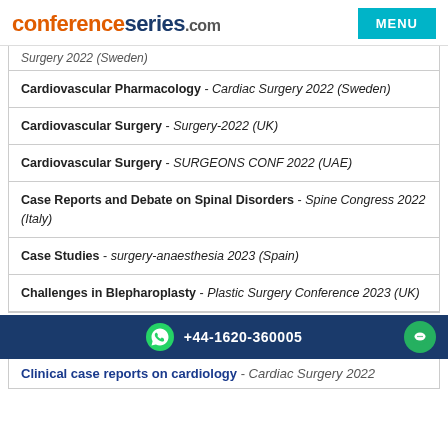conferenceseries.com
Cardiovascular Pharmacology - Cardiac Surgery 2022 (Sweden)
Cardiovascular Surgery - Surgery-2022 (UK)
Cardiovascular Surgery - SURGEONS CONF 2022 (UAE)
Case Reports and Debate on Spinal Disorders - Spine Congress 2022 (Italy)
Case Studies - surgery-anaesthesia 2023 (Spain)
Challenges in Blepharoplasty - Plastic Surgery Conference 2023 (UK)
+44-1620-360005
Clinical case reports on cardiology - Cardiac Surgery 2022